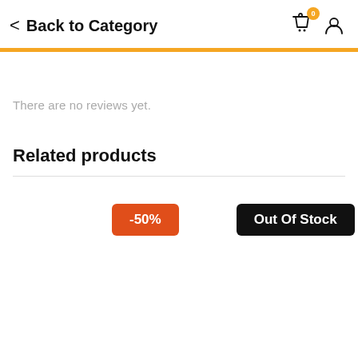Back to Category
There are no reviews yet.
Related products
-50%
Out Of Stock